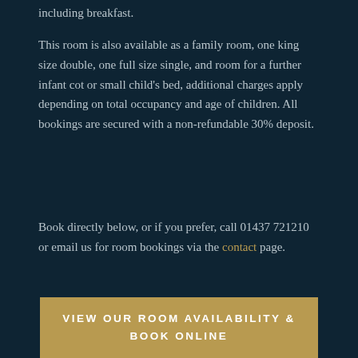including breakfast.
This room is also available as a family room, one king size double, one full size single, and room for a further infant cot or small child's bed, additional charges apply depending on total occupancy and age of children. All bookings are secured with a non-refundable 30% deposit.
Book directly below, or if you prefer, call 01437 721210 or email us for room bookings via the contact page.
VIEW OUR ROOM AVAILABILITY & BOOK ONLINE